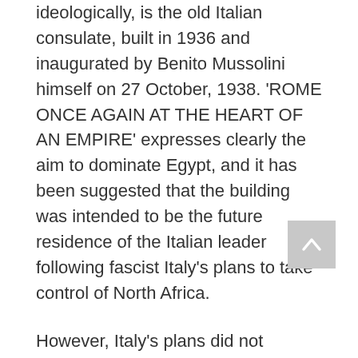ideologically, is the old Italian consulate, built in 1936 and inaugurated by Benito Mussolini himself on 27 October, 1938. 'ROME ONCE AGAIN AT THE HEART OF AN EMPIRE' expresses clearly the aim to dominate Egypt, and it has been suggested that the building was intended to be the future residence of the Italian leader following fascist Italy's plans to take control of North Africa.
However, Italy's plans did not materialize and it was promptly closed from the outset of the Second World War. After a brief stint as a British military hospital during the Second World War, it has largely remained empty and closed to this day. While still the property of the Italian state, Italy has